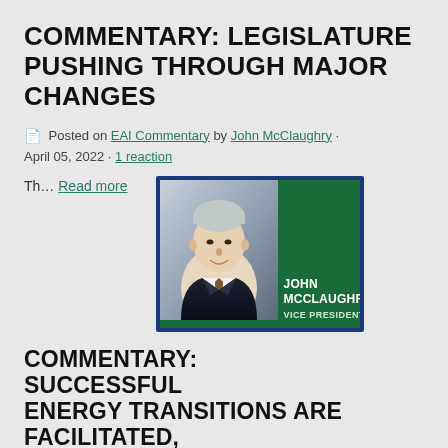COMMENTARY: LEGISLATURE PUSHING THROUGH MAJOR CHANGES
Posted on EAI Commentary by John McClaughry · April 05, 2022 · 1 reaction
Th... Read more
[Figure (photo): Profile card for John McClaughry, Vice President, showing a headshot photo of an older man in a suit against a green background with his name and title displayed.]
COMMENTARY: SUCCESSFUL ENERGY TRANSITIONS ARE FACILITATED, NOT FORCED